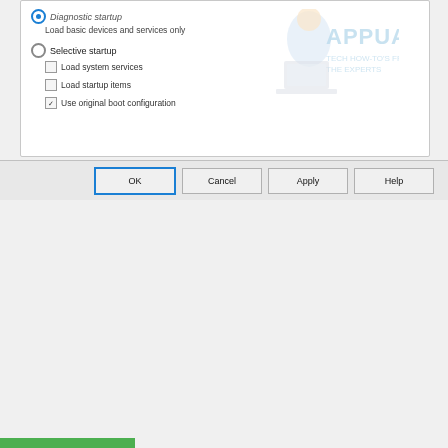[Figure (screenshot): Windows System Configuration dialog showing Diagnostic startup selected with 'Load basic devices and services only' subtext, and Selective startup option with checkboxes for Load system services, Load startup items, and Use original boot configuration. Appuals.com watermark visible. Dialog buttons OK, Cancel, Apply, Help at bottom.]